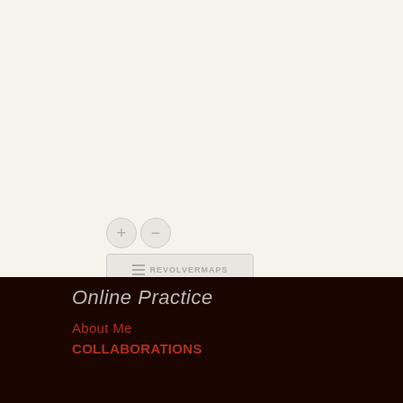[Figure (map): Interactive map widget area (cream/off-white background) with zoom controls (+ and - circular buttons) and a REVOLVERMAPS badge at bottom-left of the map area.]
Online Practice
About Me
COLLABORATIONS